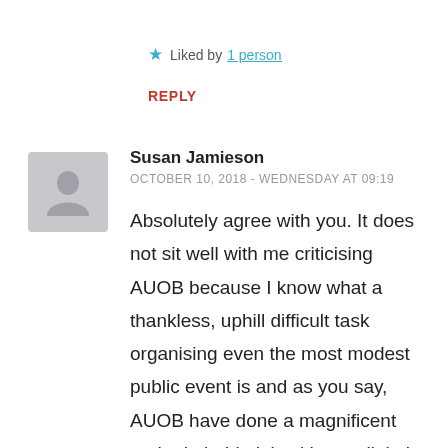★ Liked by 1 person
REPLY
Susan Jamieson
OCTOBER 10, 2018 - WEDNESDAY AT 09:19
Absolutely agree with you. It does not sit well with me criticising AUOB because I know what a thankless, uphill difficult task organising even the most modest public event is and as you say, AUOB have done a magnificent and admirable job with very little in the way of resources so far. However telling a lie